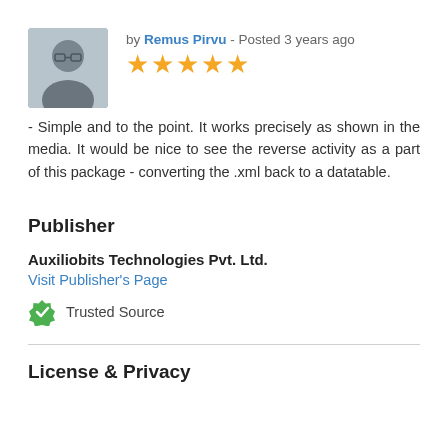[Figure (photo): Profile photo of Remus Pirvu, a person wearing glasses and dark clothing]
by Remus Pirvu - Posted 3 years ago
[Figure (other): Five gold star rating]
- Simple and to the point. It works precisely as shown in the media. It would be nice to see the reverse activity as a part of this package - converting the .xml back to a datatable.
Publisher
Auxiliobits Technologies Pvt. Ltd.
Visit Publisher's Page
Trusted Source
License & Privacy